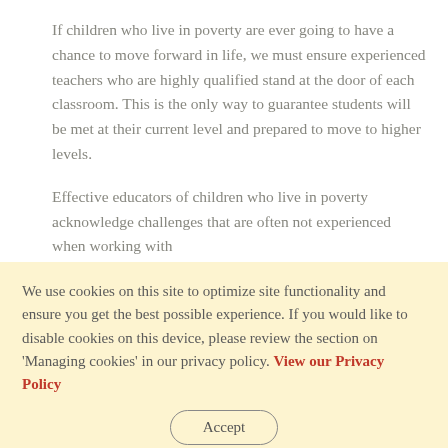If children who live in poverty are ever going to have a chance to move forward in life, we must ensure experienced teachers who are highly qualified stand at the door of each classroom. This is the only way to guarantee students will be met at their current level and prepared to move to higher levels.
Effective educators of children who live in poverty acknowledge challenges that are often not experienced when working with
We use cookies on this site to optimize site functionality and ensure you get the best possible experience. If you would like to disable cookies on this device, please review the section on 'Managing cookies' in our privacy policy. View our Privacy Policy
Accept